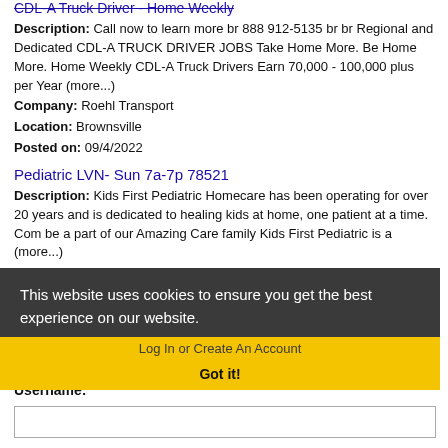CDL-A Truck Driver - Home Weekly (strikethrough title link)
Description: Call now to learn more br 888 912-5135 br br Regional and Dedicated CDL-A TRUCK DRIVER JOBS Take Home More. Be Home More. Home Weekly CDL-A Truck Drivers Earn 70,000 - 100,000 plus per Year (more...)
Company: Roehl Transport
Location: Brownsville
Posted on: 09/4/2022
Pediatric LVN- Sun 7a-7p 78521
Description: Kids First Pediatric Homecare has been operating for over 20 years and is dedicated to healing kids at home, one patient at a time. Com be a part of our Amazing Care family Kids First Pediatric is a (more...)
Company: Kids First Pediatric Homecare
Location: Brownsville
Posted on:
Loading more jobs. Learn more
This website uses cookies to ensure you get the best experience on our website. Learn more
Log In or Create An Account
Got it!
Username: